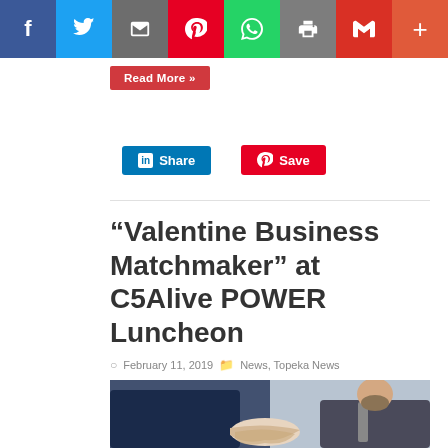[Figure (screenshot): Social media share bar with icons: Facebook (blue), Twitter (light blue), Email (grey), Pinterest (red), WhatsApp (green), Print (grey), Gmail (red), Plus (orange-red)]
Read More »
[Figure (screenshot): LinkedIn Share button (blue) and Pinterest Save button (red)]
“Valentine Business Matchmaker” at C5Alive POWER Luncheon
February 11, 2019   News, Topeka News
[Figure (photo): Two people shaking hands, one in a dark suit with tie visible on the right]